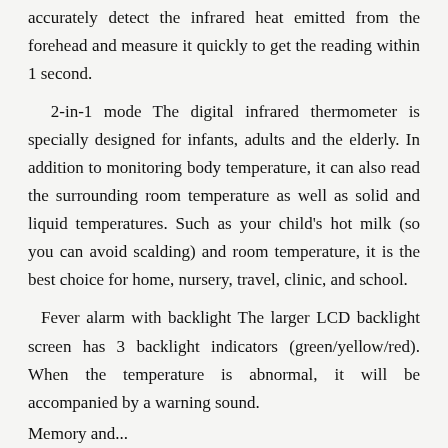accurately detect the infrared heat emitted from the forehead and measure it quickly to get the reading within 1 second.
2-in-1 mode The digital infrared thermometer is specially designed for infants, adults and the elderly. In addition to monitoring body temperature, it can also read the surrounding room temperature as well as solid and liquid temperatures. Such as your child's hot milk (so you can avoid scalding) and room temperature, it is the best choice for home, nursery, travel, clinic, and school.
Fever alarm with backlight The larger LCD backlight screen has 3 backlight indicators (green/yellow/red). When the temperature is abnormal, it will be accompanied by a warning sound.
Memory and...